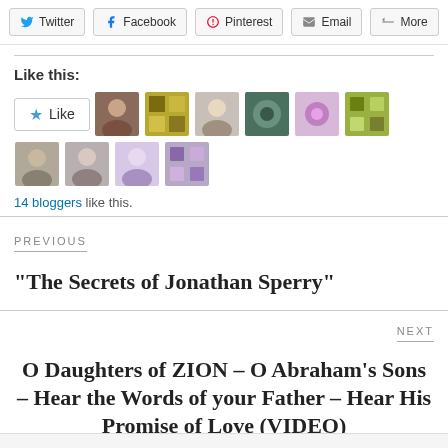[Figure (screenshot): Social share buttons row: Twitter, Facebook, Pinterest, Email, More]
Like this:
[Figure (screenshot): Like button with star icon and 9 blogger avatar thumbnails]
14 bloggers like this.
PREVIOUS
“The Secrets of Jonathan Sperry”
NEXT
O Daughters of ZION – O Abraham’s Sons – Hear the Words of your Father – Hear His Promise of Love (VIDEO)